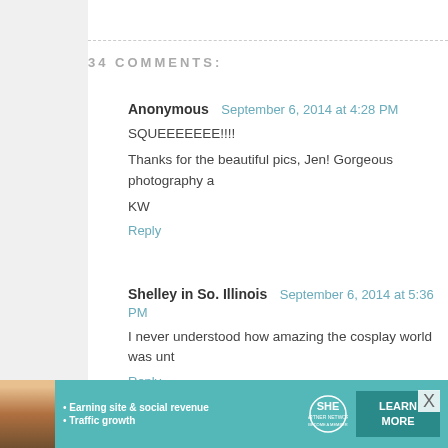34 COMMENTS:
Anonymous  September 6, 2014 at 4:28 PM
SQUEEEEEEE!!!!

Thanks for the beautiful pics, Jen! Gorgeous photography a

KW
Reply
Shelley in So. Illinois  September 6, 2014 at 5:36 PM
I never understood how amazing the cosplay world was unt
Reply
Holly Denghel  September 6, 2014 at 6:20 PM
Thank you so much for the reference graphics too ... b
the character they are representing.
[Figure (infographic): SHE Partner Network advertisement banner with teal background, showing a woman, bullet points about earning site and social revenue and traffic growth, SHE logo, and Learn More button]